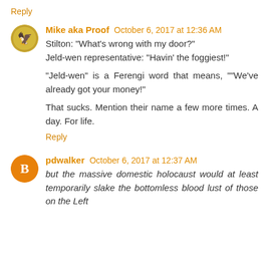Reply
Mike aka Proof  October 6, 2017 at 12:36 AM
Stilton: "What's wrong with my door?"
Jeld-wen representative: "Havin' the foggiest!"

"Jeld-wen" is a Ferengi word that means, ""We've already got your money!"

That sucks. Mention their name a few more times. A day. For life.
Reply
pdwalker  October 6, 2017 at 12:37 AM
but the massive domestic holocaust would at least temporarily slake the bottomless blood lust of those on the Left